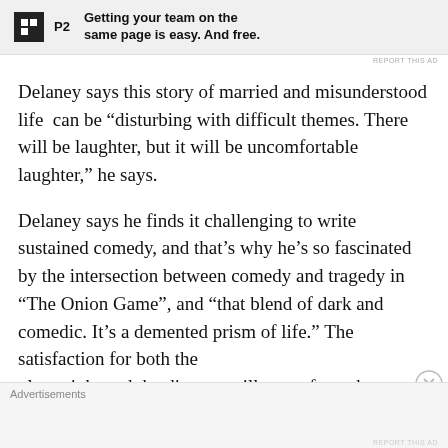[Figure (other): Advertisement banner with P2 logo and text: Getting your team on the same page is easy. And free.]
Delaney says this story of married and misunderstood life  can be “disturbing with difficult themes. There will be laughter, but it will be uncomfortable laughter,” he says.
Delaney says he finds it challenging to write sustained comedy, and that’s why he’s so fascinated by the intersection between comedy and tragedy in “The Onion Game”, and “that blend of dark and comedic. It’s a demented prism of life.” The satisfaction for both the playwright and the director will come from the audience
Advertisements